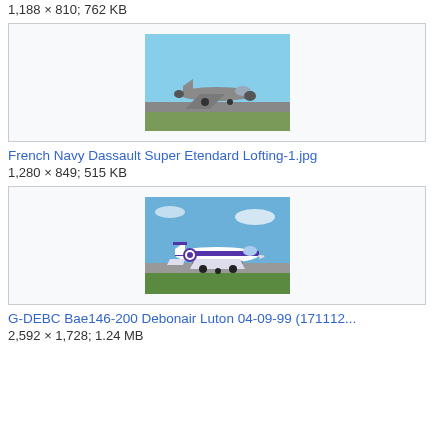1,188 × 810; 762 KB
[Figure (photo): French Navy Dassault Super Etendard military jet aircraft on tarmac, side view, blue sky background]
French Navy Dassault Super Etendard Lofting-1.jpg
1,280 × 849; 515 KB
[Figure (photo): G-DEBC Bae146-200 Debonair aircraft on runway at Luton, white and purple livery, green grass in foreground]
G-DEBC Bae146-200 Debonair Luton 04-09-99 (171112...
2,592 × 1,728; 1.24 MB